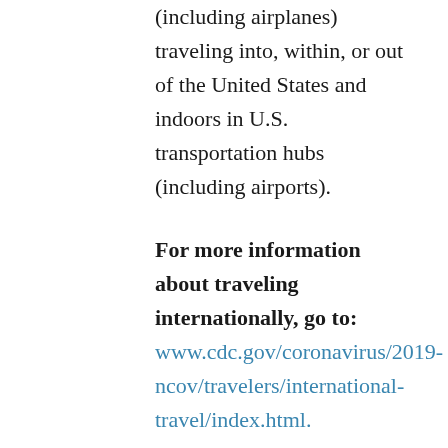(including airplanes) traveling into, within, or out of the United States and indoors in U.S. transportation hubs (including airports).
For more information about traveling internationally, go to: www.cdc.gov/coronavirus/2019-ncov/travelers/international-travel/index.html.
Lastly—and as always: Do NOT travel if you were recently exposed to COVID-19, if someone in your